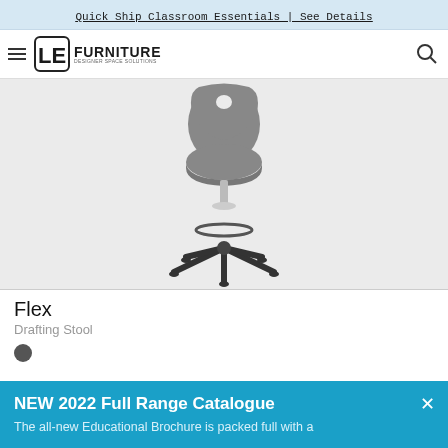Quick Ship Classroom Essentials | See Details
[Figure (logo): LE Furniture Designer Space Solutions logo with hamburger menu icon and search icon]
[Figure (photo): Flex Drafting Stool — grey plastic seat with cutout, adjustable height, chrome mechanism, black five-star base with casters and footring]
Flex
Drafting Stool
[Figure (other): Grey color swatch circle]
NEW 2022 Full Range Catalogue
The all-new Educational Brochure is packed full with a